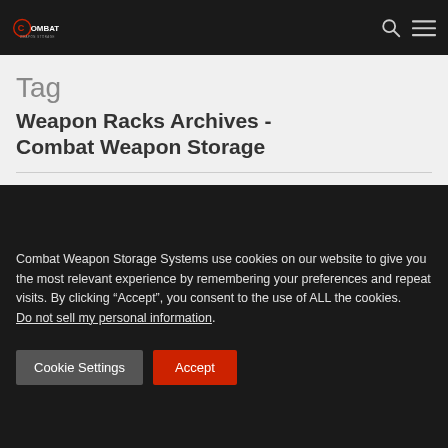Combat Weapon Storage - logo and navigation
Tag
Weapon Racks Archives - Combat Weapon Storage
Combat Weapon Storage Systems use cookies on our website to give you the most relevant experience by remembering your preferences and repeat visits. By clicking “Accept”, you consent to the use of ALL the cookies. Do not sell my personal information.
Cookie Settings   Accept